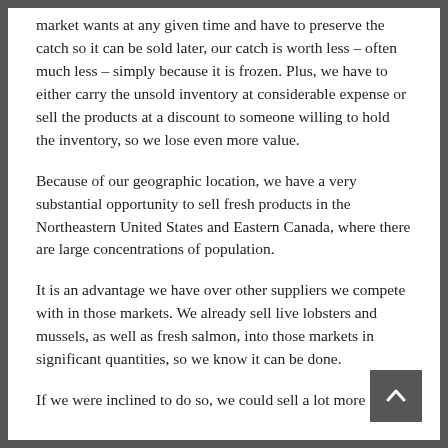market wants at any given time and have to preserve the catch so it can be sold later, our catch is worth less – often much less – simply because it is frozen. Plus, we have to either carry the unsold inventory at considerable expense or sell the products at a discount to someone willing to hold the inventory, so we lose even more value.
Because of our geographic location, we have a very substantial opportunity to sell fresh products in the Northeastern United States and Eastern Canada, where there are large concentrations of population.
It is an advantage we have over other suppliers we compete with in those markets. We already sell live lobsters and mussels, as well as fresh salmon, into those markets in significant quantities, so we know it can be done.
If we were inclined to do so, we could sell a lot more